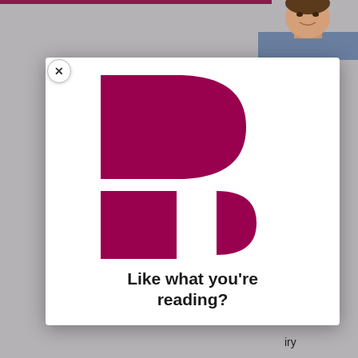[Figure (screenshot): Screenshot of a webpage with a modal popup overlay showing the Politico logo (stylized P mark in dark magenta/maroon) and the text 'Like what you're reading?' Behind the modal, partial text is visible on the right side of the screen with words like 'ake on', 'iry', 'nyself', 'd', 'ner ca', 'ations', 're I sh', 'ential'. A close button (x) is visible at the top-left of the modal. A person's face photo is partially visible at the top-right.]
Like what you're reading?